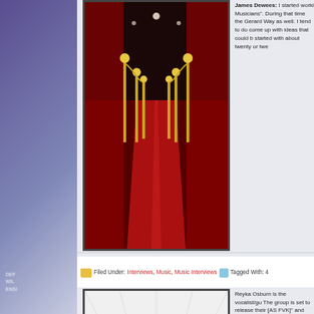[Figure (photo): Red carpet with gold stanchions and ropes, dark interior background]
James Dewees: I started worki Musicians". During that time the Gerard Way as well. I tend to do come up with ideas that could b started with about twenty or twe
Filed Under: Interviews, Music, Music Interviews   Tagged With: 4
[Figure (photo): Black and white photo of a rock band, four members in dark clothes striking dramatic poses]
Reyka Osburn is the vocalist/gu The group is set to release their [AS FVK]" and Media Mikes had creation, the addition of guitarist
Filed Under: Interviews, Misc Interviews, Music, Music Interviews